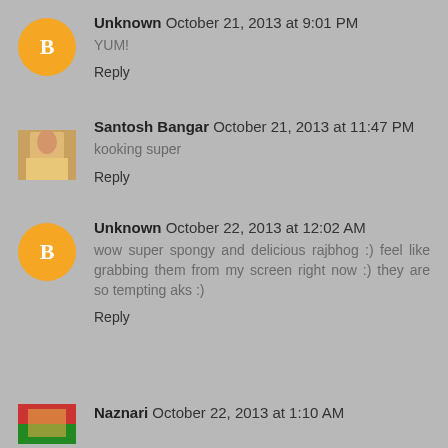Unknown October 21, 2013 at 9:01 PM
YUM!
Reply
Santosh Bangar October 21, 2013 at 11:47 PM
kooking super
Reply
Unknown October 22, 2013 at 12:02 AM
wow super spongy and delicious rajbhog :) feel like grabbing them from my screen right now :) they are so tempting aks :)
Reply